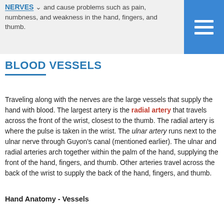can lead to irritation or pressure on the nerves within the tunnel and cause problems such as pain, numbness, and weakness in the hand, fingers, and thumb.
BLOOD VESSELS
Traveling along with the nerves are the large vessels that supply the hand with blood. The largest artery is the radial artery that travels across the front of the wrist, closest to the thumb. The radial artery is where the pulse is taken in the wrist. The ulnar artery runs next to the ulnar nerve through Guyon's canal (mentioned earlier). The ulnar and radial arteries arch together within the palm of the hand, supplying the front of the hand, fingers, and thumb. Other arteries travel across the back of the wrist to supply the back of the hand, fingers, and thumb.
Hand Anatomy - Vessels